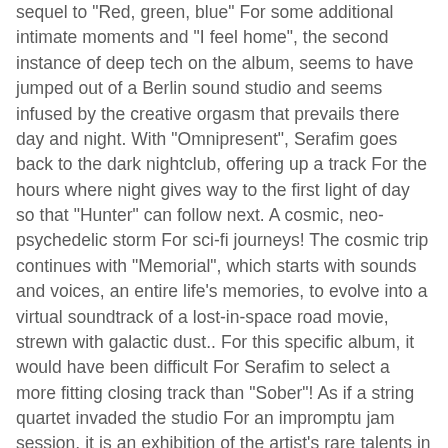sequel to "Red, green, blue" For some additional intimate moments and "I feel home", the second instance of deep tech on the album, seems to have jumped out of a Berlin sound studio and seems infused by the creative orgasm that prevails there day and night. With "Omnipresent", Serafim goes back to the dark nightclub, offering up a track For the hours where night gives way to the first light of day so that "Hunter" can follow next. A cosmic, neo-psychedelic storm For sci-fi journeys! The cosmic trip continues with "Memorial", which starts with sounds and voices, an entire life's memories, to evolve into a virtual soundtrack of a lost-in-space road movie, strewn with galactic dust.. For this specific album, it would have been difficult For Serafim to select a more fitting closing track than "Sober"! As if a string quartet invaded the studio For an impromptu jam session, it is an exhibition of the artist's rare talents in composition and instrumentation. Tsotsonis unveils, skillfully, within just a few minutes, his education in classical music, developing a subject so multifunctional and admirable, that it does not allow a shred of doubt about his talent. "Beautiful People" by Serafim Tsotsonis is one